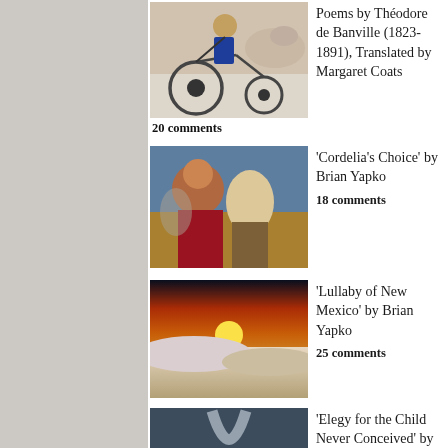[Figure (illustration): Vintage illustration of a person riding a penny-farthing bicycle with a horse in the background]
Poems by Théodore de Banville (1823-1891), Translated by Margaret Coats
20 comments
[Figure (illustration): Classical painting of a woman with red hair in historical costume with figures in background]
'Cordelia's Choice' by Brian Yapko
18 comments
[Figure (photo): Sunset over white sand dunes with orange sky]
'Lullaby of New Mexico' by Brian Yapko
25 comments
[Figure (illustration): Dark painting of a figure crouching near a waterfall in a dramatic landscape]
'Elegy for the Child Never Conceived' by Joshua C. Frank
20 comments
[Figure (photo): Interior of a modern art gallery with white walls and red artwork panels]
'After Observing the Working Methods of a Very Important Artist' by Shar…